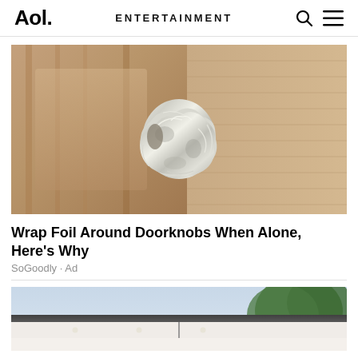Aol. | ENTERTAINMENT
[Figure (photo): Close-up photo of a door knob wrapped in aluminum foil on a wooden door]
Wrap Foil Around Doorknobs When Alone, Here's Why
SoGoodly · Ad
[Figure (photo): Exterior photo of a house roofline with trees in the background under a clear sky]